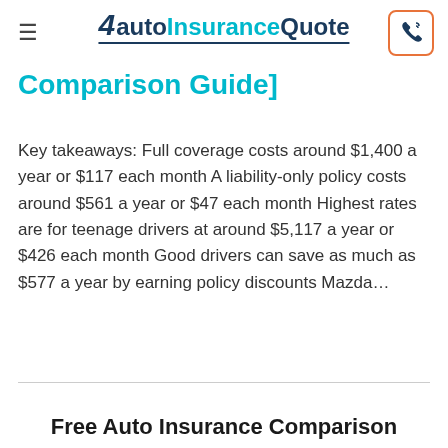AutoInsuranceQuote
Comparison Guide]
Key takeaways: Full coverage costs around $1,400 a year or $117 each month A liability-only policy costs around $561 a year or $47 each month Highest rates are for teenage drivers at around $5,117 a year or $426 each month Good drivers can save as much as $577 a year by earning policy discounts Mazda…
Free Auto Insurance Comparison